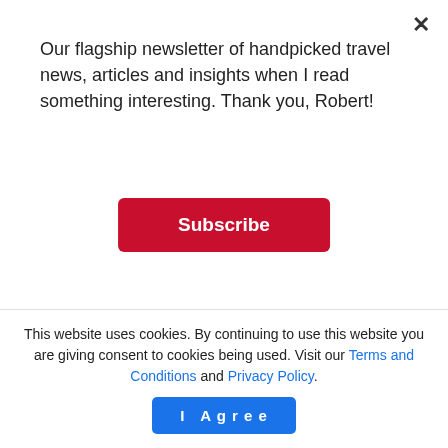Our flagship newsletter of handpicked travel news, articles and insights when I read something interesting. Thank you, Robert!
Subscribe
attendants, too
3 months ago   Reading Time: 2 mins read
[Figure (photo): Gray placeholder image area for article photo]
This website uses cookies. By continuing to use this website you are giving consent to cookies being used. Visit our Terms and Conditions and Privacy Policy.
I Agree